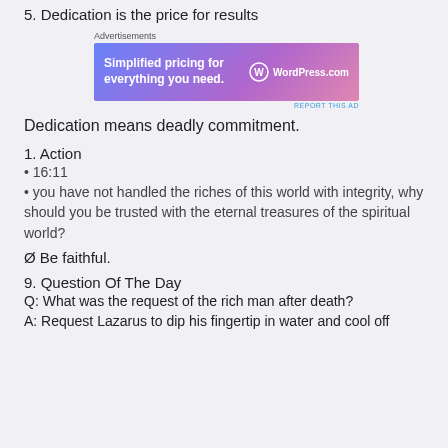5. Dedication is the price for results
[Figure (other): WordPress.com advertisement banner with text 'Simplified pricing for everything you need.' and WordPress.com logo on gradient blue-purple-pink background]
Dedication means deadly commitment.
1. Action
• 16:11
• you have not handled the riches of this world with integrity, why should you be trusted with the eternal treasures of the spiritual world?
Ø Be faithful.
9. Question Of The Day
Q: What was the request of the rich man after death?
A: Request Lazarus to dip his fingertip in water and cool off